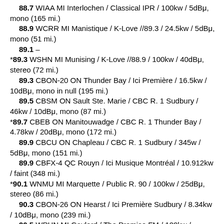88.7 WIAA MI Interlochen / Classical IPR / 100kw / 5dBμ, mono (165 mi.)
88.9 WCRR MI Manistique / K-Love //89.3 / 24.5kw / 5dBμ, mono (51 mi.)
89.1 –
*89.3 WSHN MI Munising / K-Love //88.9 / 100kw / 40dBμ, stereo (72 mi.)
89.3 CBON-20 ON Thunder Bay / Ici Première / 16.5kw / 10dBμ, mono in null (195 mi.)
89.5 CBSM ON Sault Ste. Marie / CBC R. 1 Sudbury / 46kw / 10dBμ, mono (87 mi.)
*89.7 CBEB ON Manitouwadge / CBC R. 1 Thunder Bay / 4.78kw / 20dBμ, mono (172 mi.)
89.9 CBCU ON Chapleau / CBC R. 1 Sudbury / 345w / 5dBμ, mono (151 mi.)
89.9 CBFX-4 QC Rouyn / Ici Musique Montréal / 10.912kw / faint (348 mi.)
*90.1 WNMU MI Marquette / Public R. 90 / 100kw / 25dBμ, stereo (86 mi.)
90.3 CBON-26 ON Hearst / Ici Première Sudbury / 8.34kw / 10dBμ, mono (239 mi.)
90.5 WPHN MI Gaylord / The Promise FM / 100kw /